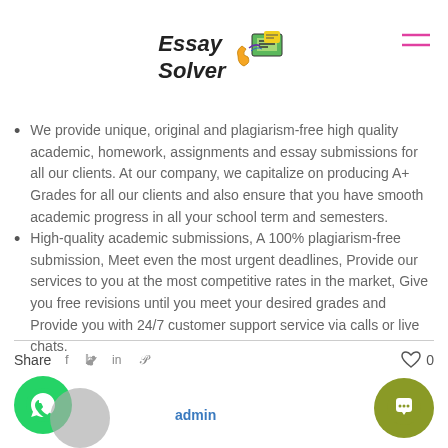Essay Solver
We provide unique, original and plagiarism-free high quality academic, homework, assignments and essay submissions for all our clients. At our company, we capitalize on producing A+ Grades for all our clients and also ensure that you have smooth academic progress in all your school term and semesters.
High-quality academic submissions, A 100% plagiarism-free submission, Meet even the most urgent deadlines, Provide our services to you at the most competitive rates in the market, Give you free revisions until you meet your desired grades and Provide you with 24/7 customer support service via calls or live chats.
Share  0  admin